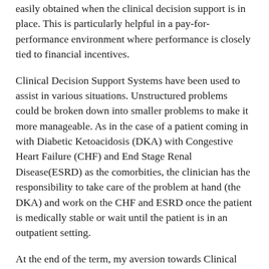easily obtained when the clinical decision support is in place. This is particularly helpful in a pay-for-performance environment where performance is closely tied to financial incentives.
Clinical Decision Support Systems have been used to assist in various situations. Unstructured problems could be broken down into smaller problems to make it more manageable. As in the case of a patient coming in with Diabetic Ketoacidosis (DKA) with Congestive Heart Failure (CHF) and End Stage Renal Disease(ESRD) as the comorbities, the clinician has the responsibility to take care of the problem at hand (the DKA) and work on the CHF and ESRD once the patient is medically stable or wait until the patient is in an outpatient setting.
At the end of the term, my aversion towards Clinical Decision Support System has dissipated. It is a necessary tool to standardize diagnosis protocol, promote knowledge sharing, provide decision support,  and improve the quality of care. CDSS also helps reduce unnecessary tests and control the costs of healthcare. Most importantly, it helps reduce medical errors which no patients should have to be worried about when seeking care from